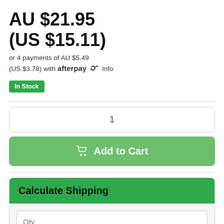AU $21.95
(US $15.11)
or 4 payments of AU $5.49 (US $3.78) with afterpay Info
In Stock
1
Add to Cart
Calculate Shipping
Qty
Australia